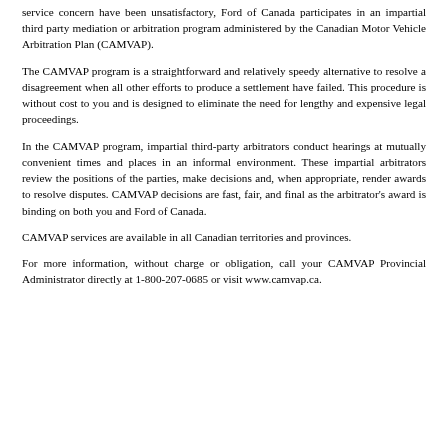service concern have been unsatisfactory, Ford of Canada participates in an impartial third party mediation or arbitration program administered by the Canadian Motor Vehicle Arbitration Plan (CAMVAP).
The CAMVAP program is a straightforward and relatively speedy alternative to resolve a disagreement when all other efforts to produce a settlement have failed. This procedure is without cost to you and is designed to eliminate the need for lengthy and expensive legal proceedings.
In the CAMVAP program, impartial third-party arbitrators conduct hearings at mutually convenient times and places in an informal environment. These impartial arbitrators review the positions of the parties, make decisions and, when appropriate, render awards to resolve disputes. CAMVAP decisions are fast, fair, and final as the arbitrator's award is binding on both you and Ford of Canada.
CAMVAP services are available in all Canadian territories and provinces.
For more information, without charge or obligation, call your CAMVAP Provincial Administrator directly at 1-800-207-0685 or visit www.camvap.ca.